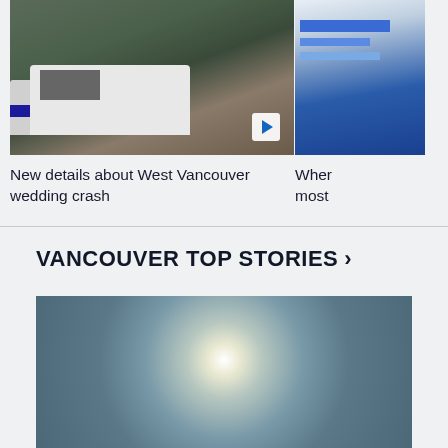[Figure (photo): Police car and ambulance/van at a scene, outdoors with bushes in background]
New details about West Vancouver wedding crash
[Figure (photo): Partially visible image, appears to be a screen or monitor display with blue tones]
Wher most
VANCOUVER TOP STORIES >
[Figure (photo): Hazy sky with bright sun visible through smoky or overcast atmosphere]